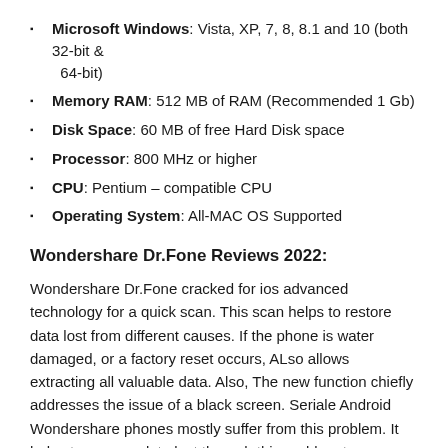Microsoft Windows: Vista, XP, 7, 8, 8.1 and 10 (both 32-bit & 64-bit)
Memory RAM: 512 MB of RAM (Recommended 1 Gb)
Disk Space: 60 MB of free Hard Disk space
Processor: 800 MHz or higher
CPU: Pentium – compatible CPU
Operating System: All-MAC OS Supported
Wondershare Dr.Fone Reviews 2022:
Wondershare Dr.Fone cracked for ios advanced technology for a quick scan. This scan helps to restore data lost from different causes. If the phone is water damaged, or a factory reset occurs, ALso allows extracting all valuable data. Also, The new function chiefly addresses the issue of a black screen. Seriale Android Wondershare phones mostly suffer from this problem. It helps to recover data lost through this problem too.
How to Download: